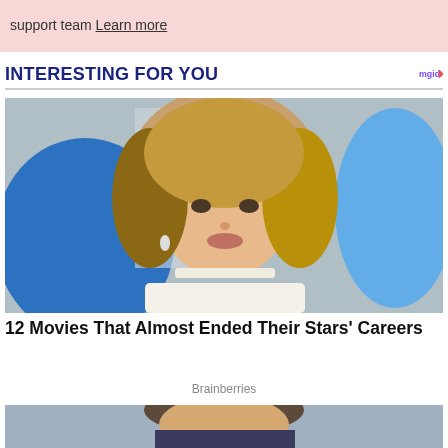support team Learn more
INTERESTING FOR YOU
[Figure (photo): Close-up photo of a blonde woman in a white outfit at what appears to be a media event]
12 Movies That Almost Ended Their Stars' Careers
Brainberries
[Figure (photo): Partial photo of another person, cropped, showing the top of their head and face]